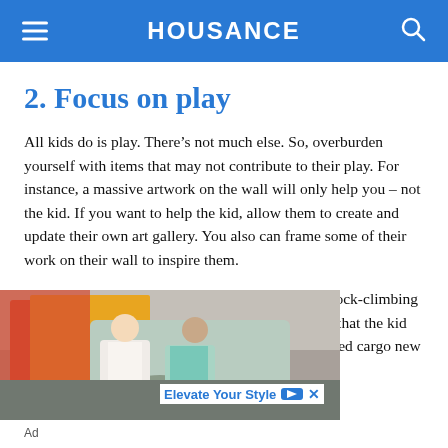HOUSANCE
2. Focus on play
All kids do is play. There’s not much else. So, overburden yourself with items that may not contribute to their play. For instance, a massive artwork on the wall will only help you – not the kid. If you want to help the kid, allow them to create and update their own art gallery. You also can frame some of their work on their wall to inspire them.
If you must go a little further, consider an inbuilt rock-climbing wall or bunk bed slide. These are functional items that the kid can safely play with at any time. A ceiling suspended cargo new would
[Figure (photo): Advertisement photo showing two people sitting on outdoor chairs]
Ad